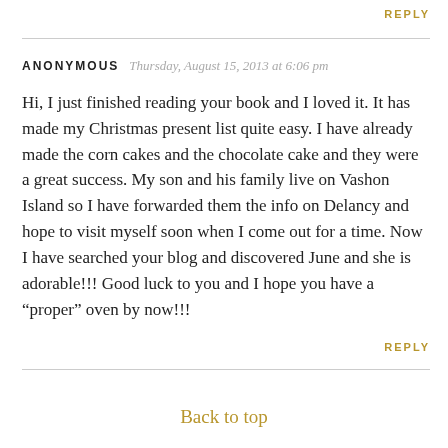REPLY
ANONYMOUS  Thursday, August 15, 2013 at 6:06 pm
Hi, I just finished reading your book and I loved it. It has made my Christmas present list quite easy. I have already made the corn cakes and the chocolate cake and they were a great success. My son and his family live on Vashon Island so I have forwarded them the info on Delancy and hope to visit myself soon when I come out for a time. Now I have searched your blog and discovered June and she is adorable!!! Good luck to you and I hope you have a “proper” oven by now!!!
REPLY
Back to top